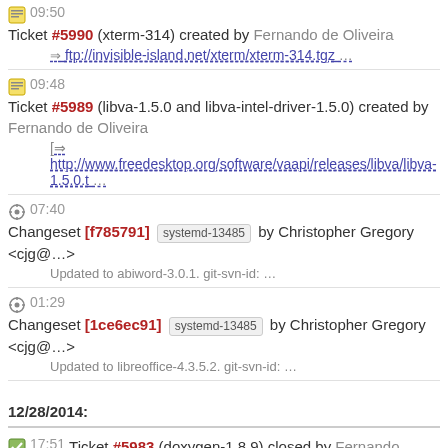09:50 Ticket #5990 (xterm-314) created by Fernando de Oliveira
⇒ ftp://invisible-island.net/xterm/xterm-314.tgz …
09:48 Ticket #5989 (libva-1.5.0 and libva-intel-driver-1.5.0) created by Fernando de Oliveira
[⇒ http://www.freedesktop.org/software/vaapi/releases/libva/libva-1.5.0.t …
07:40 Changeset [f785791] systemd-13485 by Christopher Gregory <cjg@…>
Updated to abiword-3.0.1. git-svn-id: …
01:29 Changeset [1ce6ec91] systemd-13485 by Christopher Gregory <cjg@…>
Updated to libreoffice-4.3.5.2. git-svn-id: …
12/28/2014:
17:51 Ticket #5983 (doxygen-1.8.9) closed by Fernando